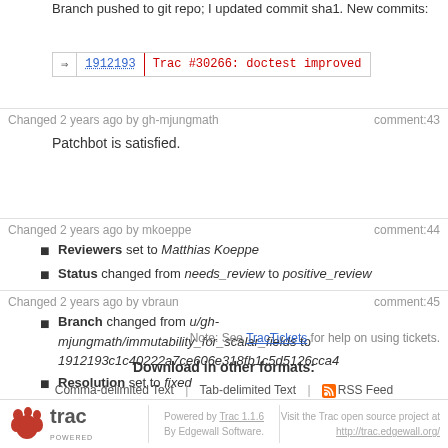Branch pushed to git repo; I updated commit sha1. New commits:
⇒ 1912193   Trac #30266: doctest improved
Changed 2 years ago by gh-mjungmath   comment:43
Patchbot is satisfied.
Changed 2 years ago by mkoeppe   comment:44
Reviewers set to Matthias Koeppe
Status changed from needs_review to positive_review
Changed 2 years ago by vbraun   comment:45
Branch changed from u/gh-mjungmath/immutability_for_scalar_fields to 1912193c1c40222a7ce606e318fb1c5d5126cca4
Resolution set to fixed
Status changed from positive_review to closed
Note: See TracTickets for help on using tickets.
Download in other formats:
Comma-delimited Text | Tab-delimited Text | RSS Feed
Powered by Trac 1.1.6 By Edgewall Software. Visit the Trac open source project at http://trac.edgewall.org/